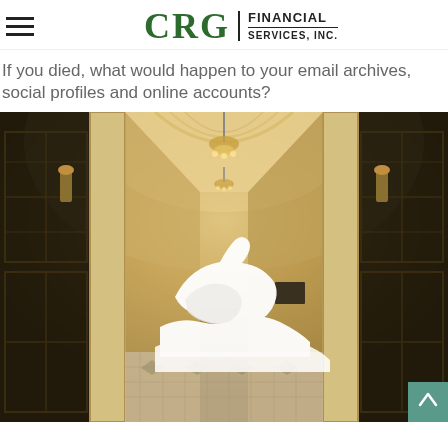CRG Financial Services, Inc.
If you died, what would happen to your email archives, social profiles and online accounts?
[Figure (photo): Interior hallway/corridor of an elegant building with arched ceilings, chandeliers, ornate columns, French doors, and a decorative tiled floor. A white swan-shaped overlay or logo is superimposed in the center of the image.]